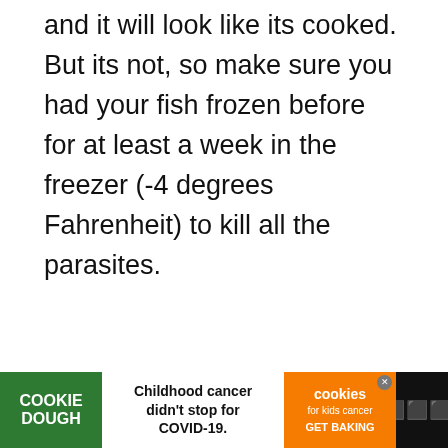and it will look like its cooked. But its not, so make sure you had your fish frozen before for at least a week in the freezer (-4 degrees Fahrenheit) to kill all the parasites.
[Figure (photo): Gray placeholder image area in the lower half of the page]
[Figure (other): Like button (blue circle with heart icon) showing count 382, and share button (white circle with share icon)]
Childhood cancer didn't stop for COVID-19.
[Figure (logo): Cookie Dough logo in green box and cookies for kids cancer in orange box with GET BAKING text]